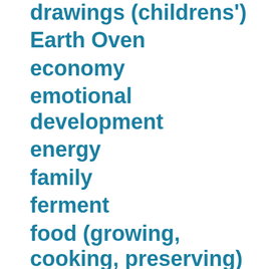drawings (childrens')
Earth Oven
economy
emotional development
energy
family
ferment
food (growing, cooking, preserving)
Freeze Yer Buns
fungi
future worries